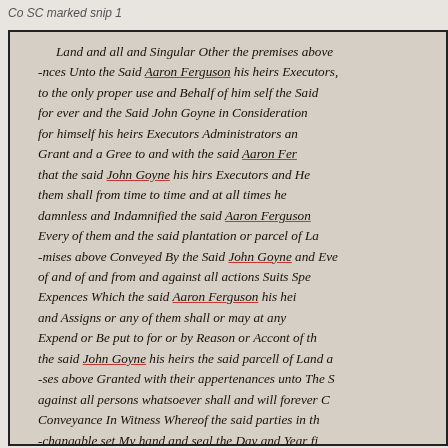Co SC marked snip 1
[Figure (photo): Scanned historical handwritten legal document in cursive script, referencing Aaron Ferguson and John Goyne, with certain names underlined in red. The document appears to be a property conveyance or deed. Text reads: Land and all and Singular Other the premises above -nces Unto the Said Aaron Ferguson his heirs Executors, to the only proper use and Behalf of him self the Said for ever and the Said John Goyne in Consideration for himself his heirs Executors Administrators an Grant and a Gree to and with the said Aaron Fer that the said John Goyne his hirs Executors and He them shall from time to time and at all times he damnless and Indamnified the said Aaron Ferguson Every of them and the said plantation or parcel of La -mises above Conveyed By the Said John Goyne and Eve of and of and from and against all actions Suits Spe Expences Which the said Aaron Ferguson his hei and Assigns or any of them shall or may at any Expend or Be put to for or by Reason or Accont of th the said John Goyne his heirs the said parcell of Land a -ses above Granted with their appertenances unto The S against all persons whatsoever shall and will forever E Conveyance In Witness Whereof the said parties in th -changable set My hand and seal the Day and Year fi Signed Sealed and Delivered in presents of us Witnesses Lewis Collins]
Co SC marked snip 1